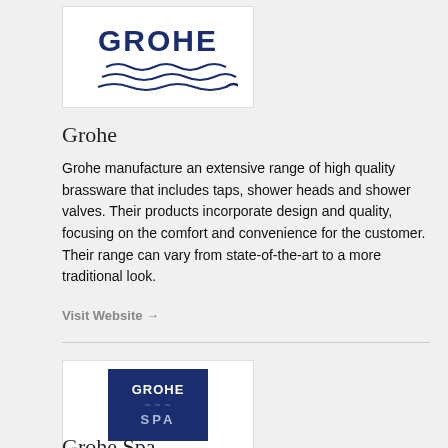[Figure (logo): GROHE logo with wave lines below the text, dark navy blue on white background]
Grohe
Grohe manufacture an extensive range of high quality brassware that includes taps, shower heads and shower valves. Their products incorporate design and quality, focusing on the comfort and convenience for the customer. Their range can vary from state-of-the-art to a more traditional look.
Visit Website →
[Figure (logo): GROHE SPA logo: dark navy blue square with GROHE text, wave lines, and SPA text in silver]
Grohe Spa